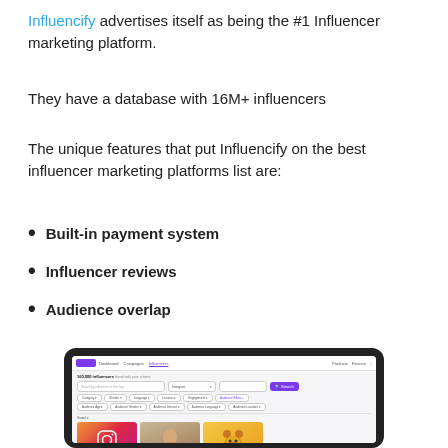Influencify advertises itself as being the #1 Influencer marketing platform.
They have a database with 16M+ influencers
The unique features that put Influencify on the best influencer marketing platforms list are:
Built-in payment system
Influencer reviews
Audience overlap
[Figure (screenshot): Screenshot of Influencify platform shown on a tablet/laptop screen with dark bezel, showing influencer search interface with search bar, filters, and influencer profile cards below including Instagram logo, a photo, and a bear illustration.]